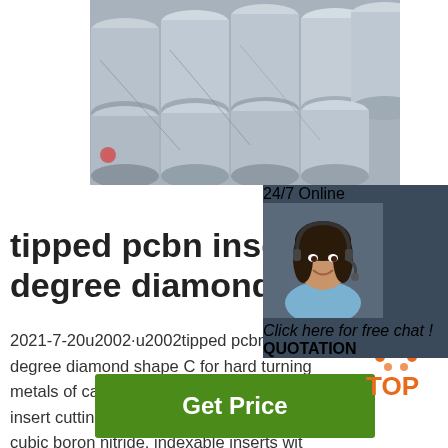[Figure (photo): Rows of metal cylindrical rods/bars bundled together, grey metallic color]
[Figure (infographic): 24/7 Online chat widget with female customer service agent wearing headset, orange QUOTATION button, dark blue background]
tipped pcbn inserts in 80 degree diamond shape
2021-7-20u2002·u2002tipped pcbn inserts in 80 degree diamond shape C for hard turning nonferrous metals of cast iron and hardened steel, the cbn insert cutting edges are made with polycrystalline cubic boron nitride, indexable inserts with cbn tips are precision cutting tools, which are used in cnc fine finish machining and turning roller, bearing, pumps, automobile brake disk, aircraft jet engine.
[Figure (logo): TOP badge logo with orange dots above text]
Get Price